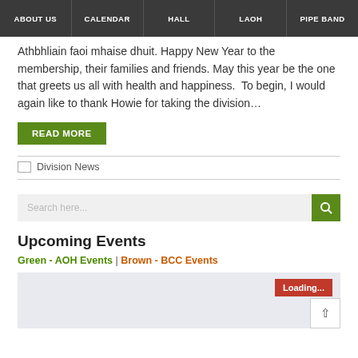ABOUT US | CALENDAR | HALL | LAOH | PIPE BAND
Athbhliain faoi mhaise dhuit. Happy New Year to the membership, their families and friends. May this year be the one that greets us all with health and happiness. To begin, I would again like to thank Howie for taking the division…
READ MORE
Division News
Search here...
Upcoming Events
Green - AOH Events | Brown - BCC Events
[Figure (other): Calendar loading area with a red Loading... button and a back-to-top arrow button]